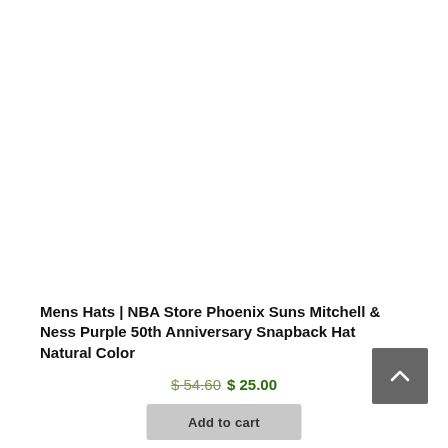Mens Hats | NBA Store Phoenix Suns Mitchell & Ness Purple 50th Anniversary Snapback Hat Natural Color
$ 54.60  $ 25.00